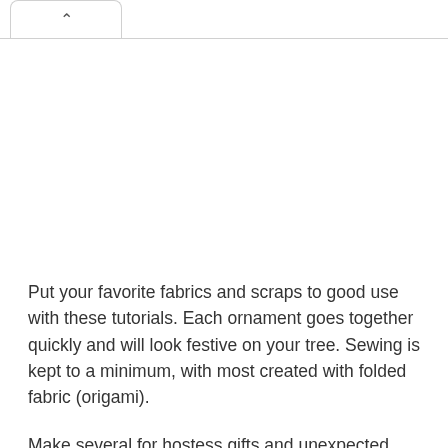Put your favorite fabrics and scraps to good use with these tutorials. Each ornament goes together quickly and will look festive on your tree. Sewing is kept to a minimum, with most created with folded fabric (origami).
Make several for hostess gifts and unexpected last-minute giving. They’d also look great as decorative touches on wrapped gifts.
It’s easy to change the look depending on the fabrics you